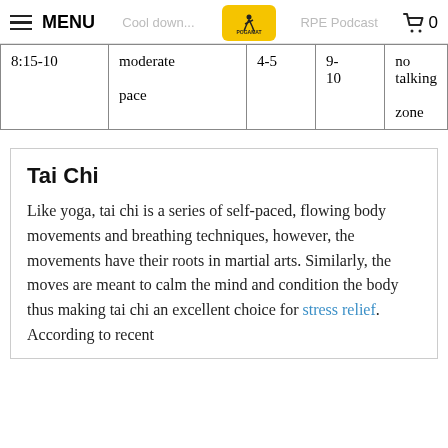MENU | POGAMAT | RPE Podcast | 🛒 0
| 8:15-10 | moderate pace | 4-5 | 9-10 | no talking zone |
Tai Chi
Like yoga, tai chi is a series of self-paced, flowing body movements and breathing techniques, however, the movements have their roots in martial arts. Similarly, the moves are meant to calm the mind and condition the body thus making tai chi an excellent choice for stress relief. According to recent